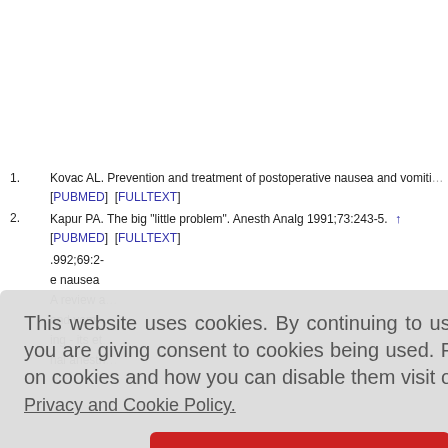1. Kovac AL. Prevention and treatment of postoperative nausea and vomiting... [PUBMED] [FULLTEXT]
2. Kapur PA. The big "little problem". Anesth Analg 1991;73:243-5. [PUBMED] [FULLTEXT]
...992;69:2-...e nausea ...A review a...and vomit...ing - its et...nal anesth...
This website uses cookies. By continuing to use this website you are giving consent to cookies being used. For information on cookies and how you can disable them visit our Privacy and Cookie Policy.
AGREE & PROCEED